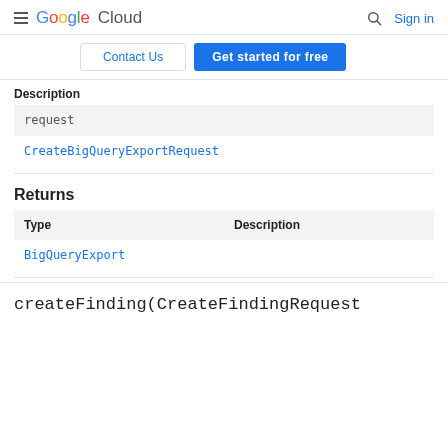Google Cloud — Sign in
Contact Us | Get started for free
| Description |
| --- |
| request |
| CreateBigQueryExportRequest |
Returns
| Type | Description |
| --- | --- |
| BigQueryExport |  |
createFinding(CreateFindingRequest